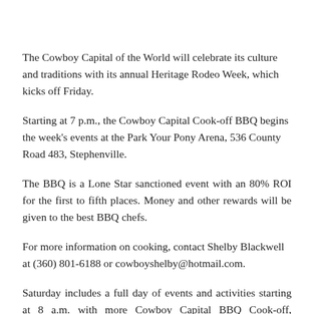The Cowboy Capital of the World will celebrate its culture and traditions with its annual Heritage Rodeo Week, which kicks off Friday.
Starting at 7 p.m., the Cowboy Capital Cook-off BBQ begins the week's events at the Park Your Pony Arena, 536 County Road 483, Stephenville.
The BBQ is a Lone Star sanctioned event with an 80% ROI for the first to fifth places. Money and other rewards will be given to the best BBQ chefs.
For more information on cooking, contact Shelby Blackwell at (360) 801-6188 or cowboyshelby@hotmail.com.
Saturday includes a full day of events and activities starting at 8 a.m. with more Cowboy Capital BBQ Cook-off, followed at 9 a.m. by the Miss Cowboy Capital Pro Rodeo Queen Contest at Cowboy County Church.